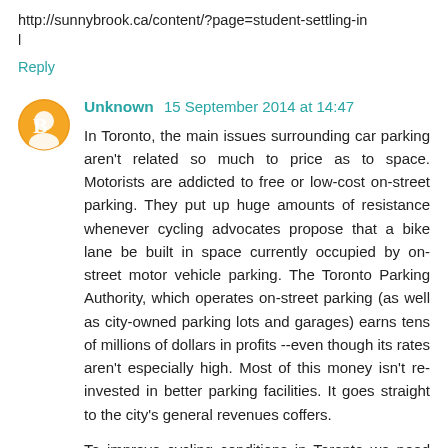http://sunnybrook.ca/content/?page=student-settling-in
l
Reply
Unknown 15 September 2014 at 14:47
In Toronto, the main issues surrounding car parking aren't related so much to price as to space. Motorists are addicted to free or low-cost on-street parking. They put up huge amounts of resistance whenever cycling advocates propose that a bike lane be built in space currently occupied by on-street motor vehicle parking. The Toronto Parking Authority, which operates on-street parking (as well as city-owned parking lots and garages) earns tens of millions of dollars in profits --even though its rates aren't especially high. Most of this money isn't re-invested in better parking facilities. It goes straight to the city's general revenues coffers.
To improve cycling conditions in Toronto we need more bike lanes, and to achieve this goal we need to eliminate a